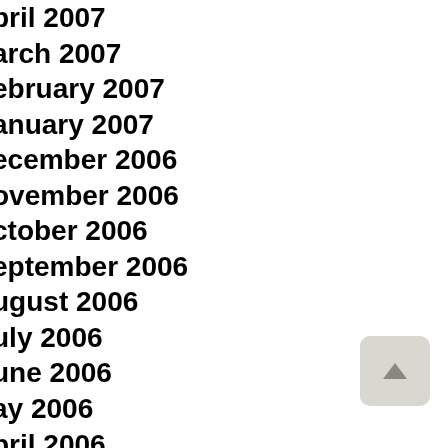April 2007
March 2007
February 2007
January 2007
December 2006
November 2006
October 2006
September 2006
August 2006
July 2006
June 2006
May 2006
April 2006
March 2006
February 2006